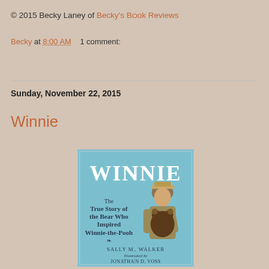© 2015 Becky Laney of Becky's Book Reviews
Becky at 8:00 AM    1 comment:
Sunday, November 22, 2015
Winnie
[Figure (illustration): Book cover of 'Winnie: The True Story of the Bear Who Inspired Winnie-the-Pooh' by Sally M. Walker, illustrated by Jonathan D. Voss. Shows a soldier in WWI uniform holding a bear cub, on a blue background.]